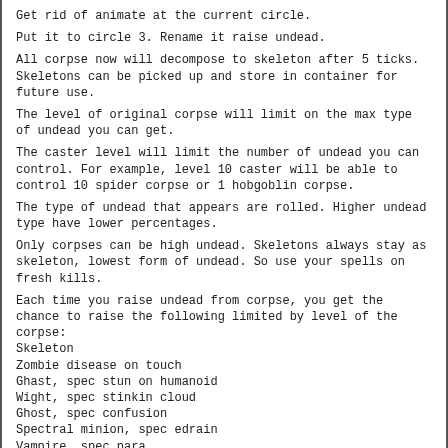Get rid of animate at the current circle.
Put it to circle 3. Rename it raise undead.
All corpse now will decompose to skeleton after 5 ticks. Skeletons can be picked up and store in container for future use.
The level of original corpse will limit on the max type of undead you can get.
The caster level will limit the number of undead you can control. For example, level 10 caster will be able to control 10 spider corpse or 1 hobgoblin corpse.
The type of undead that appears are rolled. Higher undead type have lower percentages.
Only corpses can be high undead. Skeletons always stay as skeleton, lowest form of undead. So use your spells on fresh kills.
Each time you raise undead from corpse, you get the chance to raise the following limited by level of the corpse:
Skeleton
Zombie disease on touch
Ghast, spec stun on humanoid
Wight, spec stinkin cloud
Ghost, spec confusion
Spectral minion, spec edrain
Vampire, spec para
Lich, retains skills and spells with all lower spec
Ghost and above undeads can retain one to all their former skills.
Turn skill used on these undead will cause the following
Undead explodes causing splatter damage to the room
Undead takes damage
Undead flee the room
Undead becomes berserk and attack the user
Undead breaks the bond to controller and become a idle mob
Undead attacks the controller
Casting raise undead